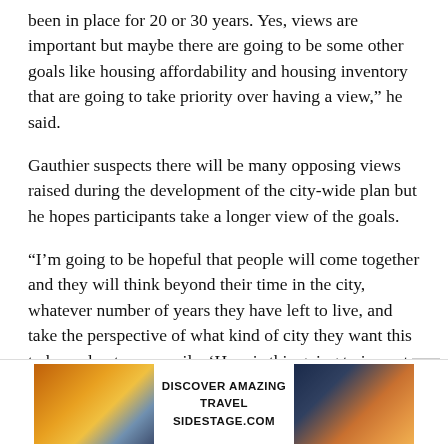been in place for 20 or 30 years. Yes, views are important but maybe there are going to be some other goals like housing affordability and housing inventory that are going to take priority over having a view,” he said.
Gauthier suspects there will be many opposing views raised during the development of the city-wide plan but he hopes participants take a longer view of the goals.
“I’m going to be hopeful that people will come together and they will think beyond their time in the city, whatever number of years they have left to live, and take the perspective of what kind of city they want this to be and not necessarily, ‘How is this going to impact me’ and ‘How will this impact my property values,’” he said.
[Figure (other): Advertisement banner: 'Discover Amazing Travel Sidestage.com' with sunset travel images on left and right sides.]